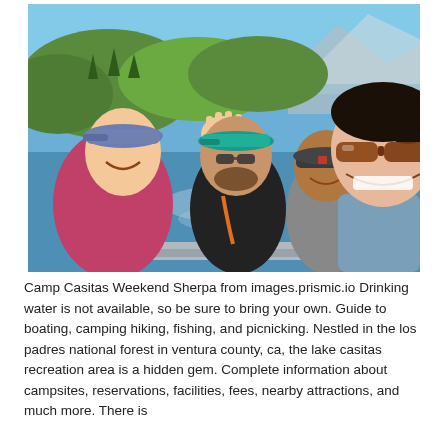[Figure (photo): Four people on a boat on a lake with mountains and blue sky in the background. A woman in the foreground wears sunglasses and smiles at the camera taking a selfie. Three others in the background are smiling and waving, wearing caps and casual clothes.]
Camp Casitas Weekend Sherpa from images.prismic.io Drinking water is not available, so be sure to bring your own. Guide to boating, camping hiking, fishing, and picnicking. Nestled in the los padres national forest in ventura county, ca, the lake casitas recreation area is a hidden gem. Complete information about campsites, reservations, facilities, fees, nearby attractions, and much more. There is